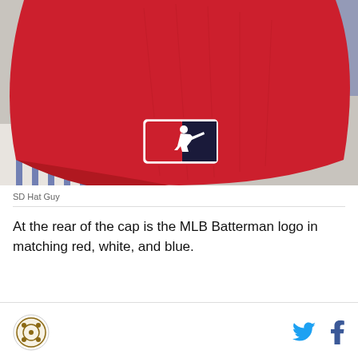[Figure (photo): Close-up photo of the rear of a red MLB baseball cap showing the MLB Batterman logo patch in red, white, and blue on the back panel, resting on a white/blue surface]
SD Hat Guy
At the rear of the cap is the MLB Batterman logo in matching red, white, and blue.